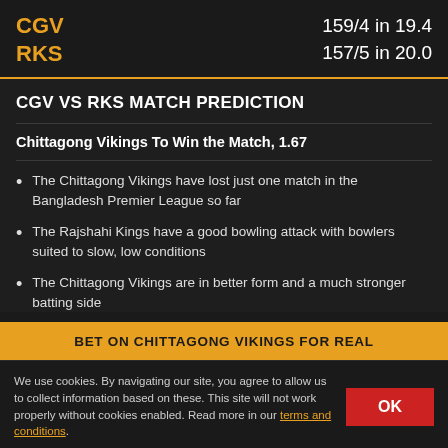CGV
RKS
159/4 in 19.4
157/5 in 20.0
CGV VS RKS MATCH PREDICTION
Chittagong Vikings To Win the Match, 1.67
The Chittagong Vikings have lost just one match in the Bangladesh Premier League so far
The Rajshahi Kings have a good bowling attack with bowlers suited to slow, low conditions
The Chittagong Vikings are in better form and a much stronger batting side
BET ON CHITTAGONG VIKINGS FOR REAL
We use cookies. By navigating our site, you agree to allow us to collect information based on these. This site will not work properly without cookies enabled. Read more in our terms and conditions.